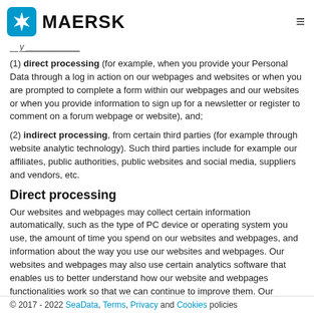MAERSK
(1) direct processing (for example, when you provide your Personal Data through a log in action on our webpages and websites or when you are prompted to complete a form within our webpages and our websites or when you provide information to sign up for a newsletter or register to comment on a forum webpage or website), and;
(2) indirect processing, from certain third parties (for example through website analytic technology). Such third parties include for example our affiliates, public authorities, public websites and social media, suppliers and vendors, etc.
Direct processing
Our websites and webpages may collect certain information automatically, such as the type of PC device or operating system you use, the amount of time you spend on our websites and webpages, and information about the way you use our websites and webpages. Our websites and webpages may also use certain analytics software that enables us to better understand how our website and webpages functionalities work so that we can continue to improve them. Our websites and webpages do not knowingly collect Personal Data about any person under the age of 18 years. You can stop continued collection
© 2017 - 2022 SeaData, Terms, Privacy and Cookies policies